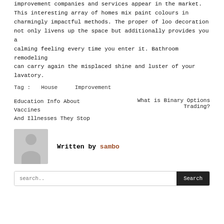improvement companies and services appear in the market. This interesting array of homes mix paint colours in charmingly impactful methods. The proper of loo decoration not only livens up the space but additionally provides you a calming feeling every time you enter it. Bathroom remodeling can carry again the misplaced shine and luster of your lavatory.
Tag : House   Improvement
Education Info About Vaccines And Illnesses They Stop
What is Binary Options Trading?
[Figure (illustration): Generic user avatar placeholder: gray square with silhouette of head and shoulders]
Written by sambo